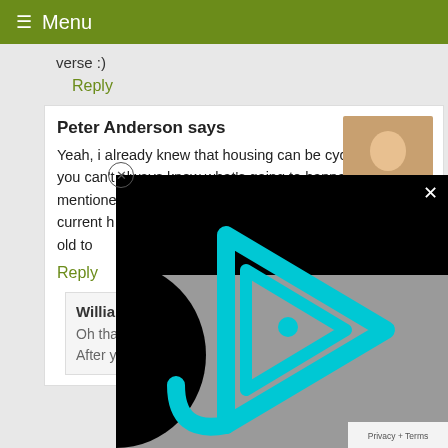≡ Menu
verse :)
Reply
Peter Anderson says
Yeah, i already knew that housing can be cyclical, and you can't always know what's going to happen. I mentioned how we've lost quite a bit of money on our current house, but I didn't mention that we also sold our old to... netting us a profit o... guess it works bot...
Reply
William @ Drop Dead Money says
Oh that is good – and it makes a difference, of course. After you buy your first house, it
[Figure (screenshot): Video player overlay with cyan/teal triangular play button logo on gray and black background, with X close button]